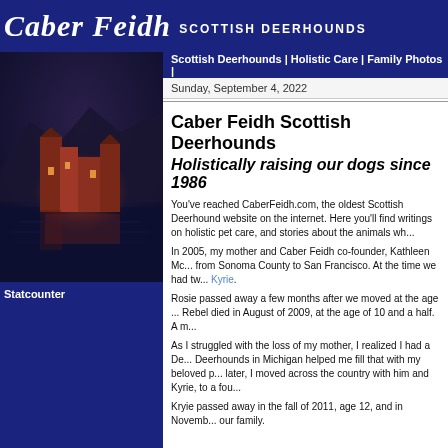Caber Feidh SCOTTISH DEERHOUNDS
Scottish Deerhounds | Holistic Care | Family Photos
Sunday, September 4, 2022
Caber Feidh Scottish Deerhounds
Holistically raising our dogs since 1986
You've reached CaberFeidh.com, the oldest Scottish Deerhound website on the internet. Here you'll find writings on holistic pet care, and stories about the animals wh...
In 2005, my mother and Caber Feidh co-founder, Kathleen Mc... from Sonoma County to San Francisco. At the time we had tw... Kyrie.
Rosie passed away a few months after we moved at the age ... Rebel died in August of 2009, at the age of 10 and a half. A m...
As I struggled with the loss of my mother, I realized I had a De... Deerhounds in Michigan helped me fill that with my beloved p... later, I moved across the country with him and Kyrie, to a fou...
Kryie passed away in the fall of 2011, age 12, and in Novemb... our family.
[Figure (photo): Photo of a Scottish castle (Eilean Donan style) illuminated at night, reflected in water, with dark mountains behind. Reddish-orange lighting on the castle walls.]
Statcounter